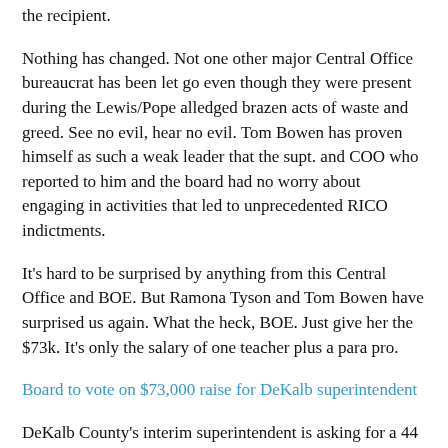the recipient.
Nothing has changed. Not one other major Central Office bureaucrat has been let go even though they were present during the Lewis/Pope alledged brazen acts of waste and greed. See no evil, hear no evil. Tom Bowen has proven himself as such a weak leader that the supt. and COO who reported to him and the board had no worry about engaging in activities that led to unprecedented RICO indictments.
It's hard to be surprised by anything from this Central Office and BOE. But Ramona Tyson and Tom Bowen have surprised us again. What the heck, BOE. Just give her the $73k. It's only the salary of one teacher plus a para pro.
Board to vote on $73,000 raise for DeKalb superintendent
DeKalb County's interim superintendent is asking for a 44 percent raise -- from $165,000 to $238,000 a year. The county school board will vote today on increasing Ramona Tyson's salary, board chairman Tom Bowen told The Atlanta Journal-Constitution.